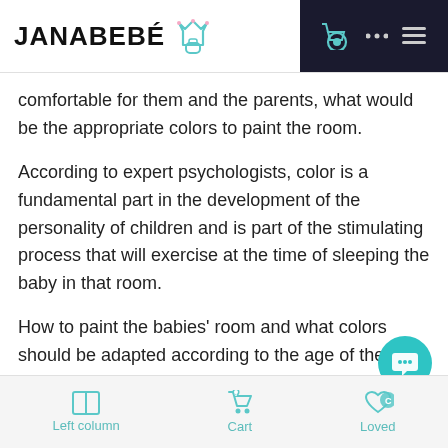JANABEBÉ
comfortable for them and the parents, what would be the appropriate colors to paint the room.
According to expert psychologists, color is a fundamental part in the development of the personality of children and is part of the stimulating process that will exercise at the time of sleeping the baby in that room.
How to paint the babies' room and what colors should be adapted according to the age of the children, is a question that many parents must ask themselves, since each color influences positively and negatively according to the age they are in.
Left column   Cart   Loved